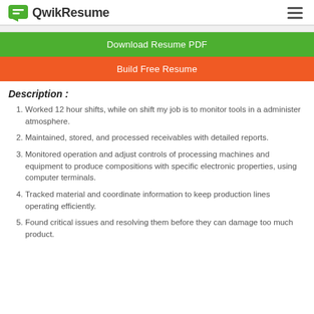QwikResume
Download Resume PDF
Build Free Resume
Description :
Worked 12 hour shifts, while on shift my job is to monitor tools in a administer atmosphere.
Maintained, stored, and processed receivables with detailed reports.
Monitored operation and adjust controls of processing machines and equipment to produce compositions with specific electronic properties, using computer terminals.
Tracked material and coordinate information to keep production lines operating efficiently.
Found critical issues and resolving them before they can damage too much product.